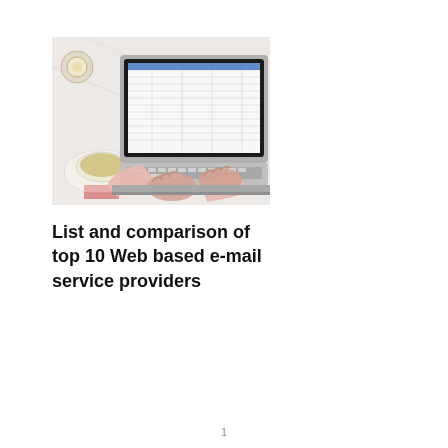[Figure (photo): Overhead view of a person's hands typing on a MacBook laptop, with a cup of tea and decorative items on a white marble surface.]
List and comparison of top 10 Web based e-mail service providers
1